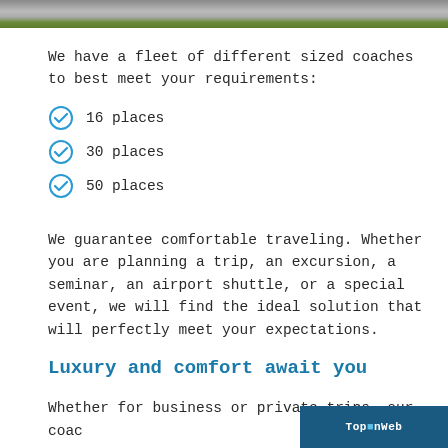[Figure (photo): Top strip of a road/coach photo — asphalt and green grass visible at the edges]
We have a fleet of different sized coaches to best meet your requirements:
16 places
30 places
50 places
We guarantee comfortable traveling. Whether you are planning a trip, an excursion, a seminar, an airport shuttle, or a special event, we will find the ideal solution that will perfectly meet your expectations.
Luxury and comfort await you
Whether for business or private trips, our coac
TopInWeb